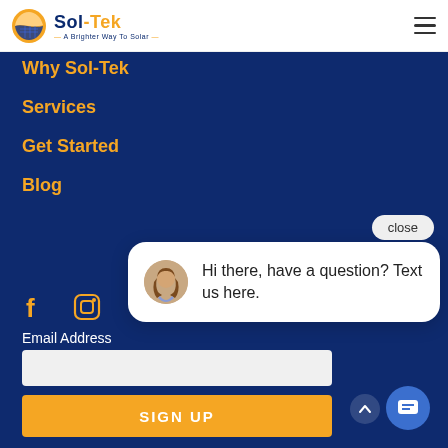[Figure (logo): Sol-Tek solar company logo with sun/solar panel icon and tagline 'A Brighter Way To Solar']
Why Sol-Tek
Services
Get Started
Blog
[Figure (illustration): Facebook and Instagram social media icons in gold/amber color]
Email Address
[Figure (screenshot): Chat widget popup with female avatar and text: Hi there, have a question? Text us here. Has a close button above it and chat launcher button below.]
SIGN UP